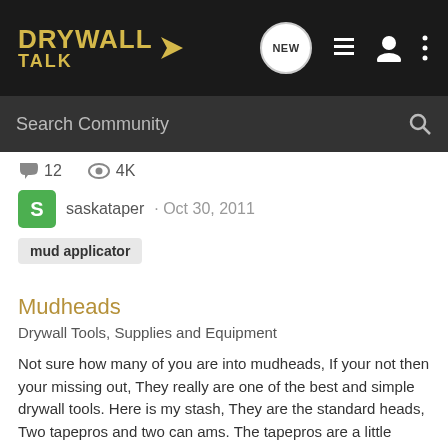DRYWALL TALK — Navigation bar with logo, NEW button, list icon, user icon, menu icon
Search Community
💬 12   👁 4K
S  saskataper · Oct 30, 2011
mud applicator
Mudheads
Drywall Tools, Supplies and Equipment
Not sure how many of you are into mudheads, If your not then your missing out, They really are one of the best and simple drywall tools. Here is my stash, They are the standard heads, Two tapepros and two can ams. The tapepros are a little different but i quite like them, Nice head for external...
💬 26   👁 6K
cazna · Sep 25, 2011